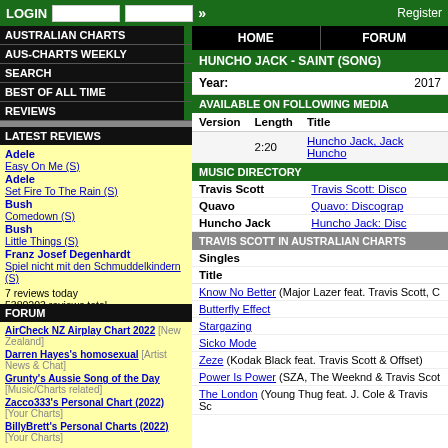LOGIN | Register
AUSTRALIAN CHARTS
AUS-CHARTS WEEKLY
SEARCH
BEST OF ALL TIME
REVIEWS
LATEST REVIEWS
Adele - Easy On Me (S)
Adele - Set Fire To The Rain (S)
Bush - Comedown (S)
Bush - Little Things (S)
Franz Josef Degenhardt - Spiel nicht mit den Schmuddelkindern (S)
7 reviews today
5380203 reviews total
50 latest reviews
FORUM
AirCheck NZ Airplay Chart 2022 [New Zealand]
Darren Hayes's homosexual [Artist News & Chat]
Grunty's Aussie Song of the Day [Music/Charts related]
Zacco333's Personal Chart (2022) [Your Charts]
BillyBrett's Personal Charts (2022) [Your Charts]
HOME | FORUM
HUNCHO JACK - SAINT (SONG)
Year: 2017
AVAILABLE ON FOLLOWING MEDIA
| Version | Length | Title |
| --- | --- | --- |
|  | 2:20 | Huncho Jack, Jack Huncho |
MUSIC DIRECTORY
| Artist | Link |
| --- | --- |
| Travis Scott | Travis Scott: Disco... |
| Quavo | Quavo: Discograp... |
| Huncho Jack | Huncho Jack: Disc... |
TRAVIS SCOTT IN AUSTRALIAN CHARTS
Singles
Title
Know No Better (Major Lazer feat. Travis Scott, C...)
Butterfly Effect
Stargazing
Sicko Mode
Zeze (Kodak Black feat. Travis Scott & Offset)
Power Is Power (SZA, The Weeknd & Travis Scot...)
The London (Young Thug feat. J. Cole & Travis Sc...)